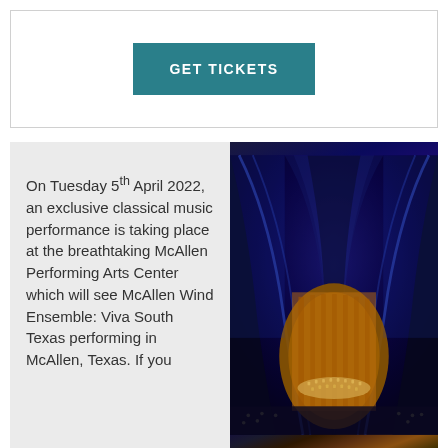GET TICKETS
On Tuesday 5th April 2022, an exclusive classical music performance is taking place at the breathtaking McAllen Performing Arts Center which will see McAllen Wind Ensemble: Viva South Texas performing in McAllen, Texas. If you
[Figure (photo): Interior of McAllen Performing Arts Center with blue lighting illuminating dramatic arched ceiling, orchestra on stage visible from overhead angle]